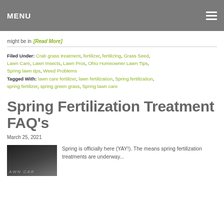MENU
might be in [Read More]
Filed Under: Crab grass treatment, fertilizer, fertilizing, Grass Seed, Lawn Care, Lawn Insects, Lawn Pros, Ohio Homeowner Lawn Tips, Spring lawn tips, Weed Problems
Tagged With: lawn care fertilizer, lawn fertilization, Spring fertilization, spring fertilizer, spring green grass, Spring lawn care
Spring Fertilization Treatment FAQ's
March 25, 2021
[Figure (photo): Dark chalkboard or lawn background with 'LAWN CARE' text written on it]
Spring is officially here (YAY!). The means spring fertilization treatments are underway...